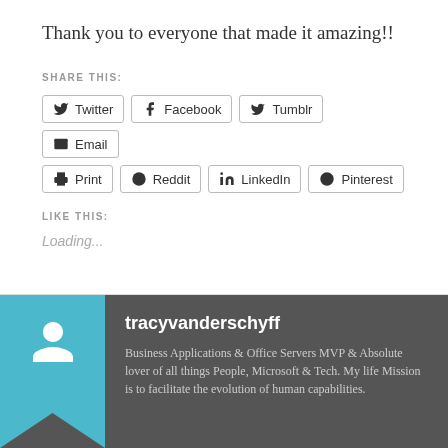Thank you to everyone that made it amazing!!
SHARE THIS:
Twitter
Facebook
Tumblr
Email
Print
Reddit
LinkedIn
Pinterest
LIKE THIS:
Loading...
tracyvanderschyff
Business Applications & Office Servers MVP & Absolute lover of all things People, Microsoft & Tech. My life Mission is to facilitate the evolution of human capabilities.